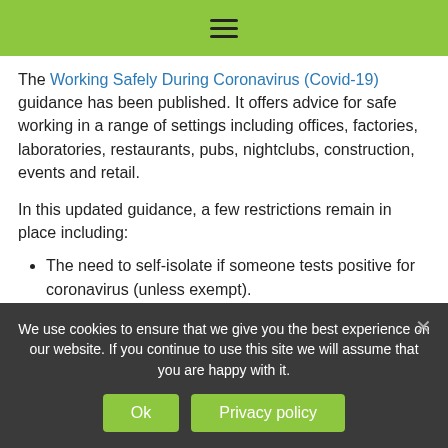≡
The Working Safely During Coronavirus (Covid-19) guidance has been published. It offers advice for safe working in a range of settings including offices, factories, laboratories, restaurants, pubs, nightclubs, construction, events and retail.
In this updated guidance, a few restrictions remain in place including:
The need to self-isolate if someone tests positive for coronavirus (unless exempt).
The need to self-isolate for those in close contact with someone who tests positive until 16th August
We use cookies to ensure that we give you the best experience on our website. If you continue to use this site we will assume that you are happy with it.